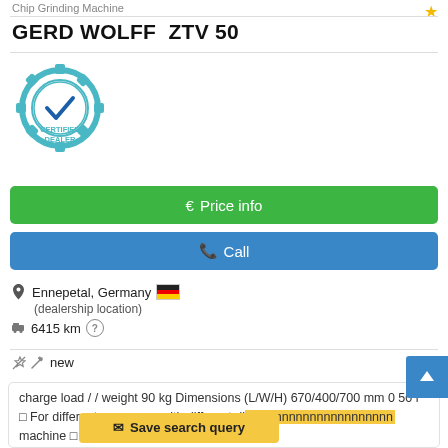Chip Grinding Machine
GERD WOLFF  ZTV 50
[Figure (logo): Certified Dealer badge — teal gear icon with checkmark and text CERTIFIED DEALER]
€ Price info
📞 Call
Ennepetal, Germany 🇩🇪
(dealership location)
6415 km
new
charge load / / weight 90 kg Dimensions (L/W/H) 670/400/700 mm 0 50 l □ For different processes with different di machine □ Usually f
Save search query